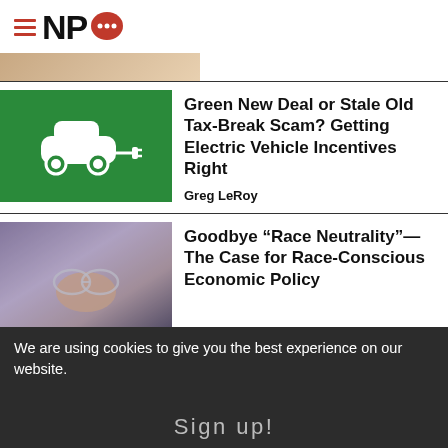NPQ
[Figure (photo): Partial view of a top image strip, warm tan/beige tones]
[Figure (photo): Green parking sign with white electric vehicle icon and charging plug]
Green New Deal or Stale Old Tax-Break Scam? Getting Electric Vehicle Incentives Right
Greg LeRoy
[Figure (photo): Hand holding glasses in front of colorful blurred background]
Goodbye “Race Neutrality”—The Case for Race-Conscious Economic Policy
We are using cookies to give you the best experience on our website.
Sign up!